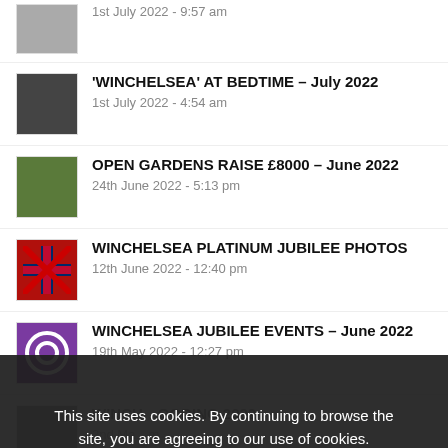1st July 2022 - 9:57 am
'WINCHELSEA' AT BEDTIME – July 2022
1st July 2022 - 4:54 am
OPEN GARDENS RAISE £8000 – June 2022
24th June 2022 - 5:13 pm
WINCHELSEA PLATINUM JUBILEE PHOTOS
12th June 2022 - 12:40 pm
WINCHELSEA JUBILEE EVENTS – June 2022
19th May 2022 - 12:27 pm
WINCH...OODING 2022
2nd Ma...m
CONSERVATION SOCIETY REPORT
29th April 2022 - 5:22 pm
This site uses cookies. By continuing to browse the site, you are agreeing to our use of cookies.